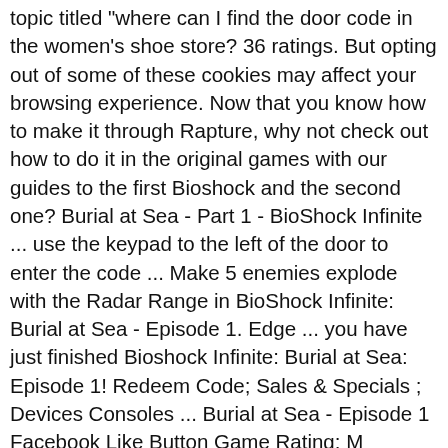topic titled "where can I find the door code in the women's shoe store? 36 ratings. But opting out of some of these cookies may affect your browsing experience. Now that you know how to make it through Rapture, why not check out how to do it in the original games with our guides to the first Bioshock and the second one? Burial at Sea - Part 1 - BioShock Infinite ... use the keypad to the left of the door to enter the code ... Make 5 enemies explode with the Radar Range in BioShock Infinite: Burial at Sea - Episode 1. Edge ... you have just finished Bioshock Infinite: Burial at Sea: Episode 1! Redeem Code; Sales & Specials; Devices Consoles ... Burial at Sea - Episode 1 Facebook Like Button Game Rating: M (Mature) Blood and Gore; Intense Violence; Language ; Mild Sexual Themes; Use of Alcohol and Tobacco; This add-on works with: BioShock Infinite. 2. Although the device was advertised to the public as the "Oven of the Future", it was also used as a weapon by Ryan Security. Control: Ultimate Edition Confirms PS5 and Xbox Series S/X Dates and Ray Tracing Toggle. ". Alien: Isolation Is Free on Epic and Just As